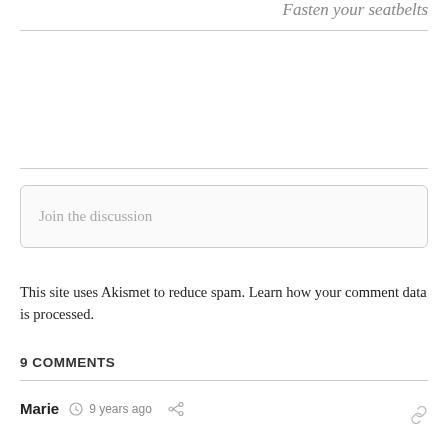Fasten your seatbelts
Join the discussion
This site uses Akismet to reduce spam. Learn how your comment data is processed.
9 COMMENTS
Marie  9 years ago